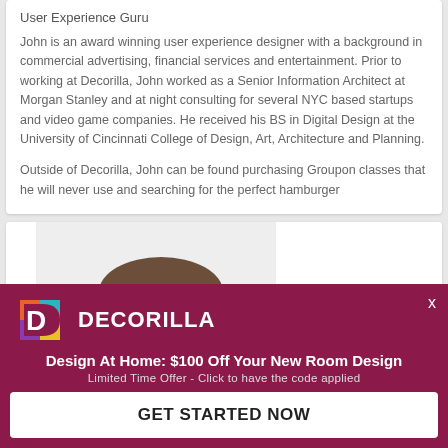User Experience Guru
John is an award winning user experience designer with a background in commercial advertising, financial services and entertainment. Prior to working at Decorilla, John worked as a Senior Information Architect at Morgan Stanley and at night consulting for several NYC based startups and video game companies. He received his BS in Digital Design at the University of Cincinnati College of Design, Art, Architecture and Planning.
Outside of Decorilla, John can be found purchasing Groupon classes that he will never use and searching for the perfect hamburger
[Figure (photo): Headshot photo of a young man with short brown hair against a light background]
[Figure (logo): Decorilla logo with colorful D icon and brand name, ad banner with offer: Design At Home: $100 Off Your New Room Design. Limited Time Offer - Click to have the code applied. GET STARTED NOW button.]